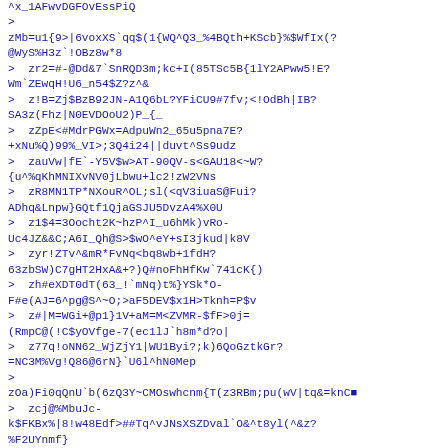^x_1AFwvDGFOvEssPiQ
>
zMb=u1{9>|6voxXS`qq$(1{WQ^Q3_%4BQth+KScb}%$WfIx(?@WyS%H3z`!OBz8w*8
> zr2=#-@Dd&7`SnRQD3m;kc+I(85TSc5B{1lY2APww5!E?Wm`ZEwqH!U6_n54$Z?z^&
> z!B=Zj$BzB92JN-A1Q6bL?YFiCU9#7fv;<!OdBh|IB?SA3z(Fhz|N0EVDOoU2)P_{_
> zZpE<#MdrPGWx=AdpuWn2_65u5pna7E?+xNu%Q)99%_VI>;3Q4i24||duvt^Ss9udz
> zauVw|fE`-Y5V$w>AT-90QV-s<GAU18<~W?{u^%qKhMNIXvNV0jLbwu+lc2!zW2VNs
> zR8MN1TP*NXouR^OL;sl(<qV3iuaS@Fui?ADhq&Lnpw}GQtf1QjaGSJU5DvzA4%X0U
> z1$4=3Oocht2K~hzP^I_u6hMk)vRo-Uc4JZ&&C;A6I_Qh@S>$wO^eY+sI3jkud|k8V
> zyr!ZTv^&mR*FvNq<bq8wb+1fdH?63zbSW)C7gHT2HxA&+?)Q#noFhHfKw`741cK{)
> zh#eXDT0dT(63_!`mNq)t%}YSk*O-F#e(AJ=6^pg@S^~O;>aF5DEV$x1H>Tknh=P$v
> z#|M=WGi+@p1}1V+aM=M<ZVMR-$fF>0j=(RmpC@(!C$yOVfge-7(ec1lJ`h8m*d?o|
> z77q!oNN62_WjZjY1|WU1Byi?;k)6QoGztkGr?=NC3M%Vg!Q86@6rN}`U6l^hN0Mep
>
zOa)Fi0qQnU`b(6zQ3Y~CMOswhcnm{T(z3RBm;pu(wV|tq&=knC
> zcj@%MbuJc-k$FKBx%|8!w48Edf>##Tq^vJNsXSZDval`O&^t8yl(^&z?%F2UYnmf}
> zGibFbV#xm?diWBCTW0T(4?2Y4vx@yr=:tfp$1$i!